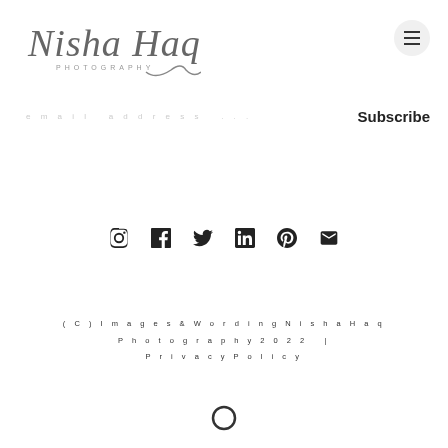[Figure (logo): Nisha Haq Photography handwritten script logo with swirl underline]
[Figure (other): Hamburger menu icon (three horizontal lines) inside a light gray circle]
email address ...
Subscribe
[Figure (other): Row of social media icons: Instagram, Facebook, Twitter, LinkedIn, Pinterest, Email]
(C) Images & Wording Nisha Haq Photography 2022 | Privacy Policy
[Figure (other): Bottom circular icon / button]